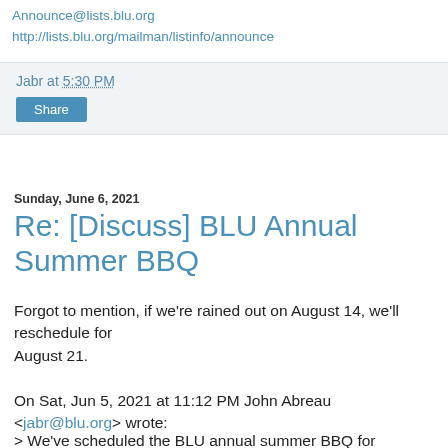Announce@lists.blu.org
http://lists.blu.org/mailman/listinfo/announce
Jabr at 5:30 PM
Share
Sunday, June 6, 2021
Re: [Discuss] BLU Annual Summer BBQ
Forgot to mention, if we're rained out on August 14, we'll reschedule for
August 21.
On Sat, Jun 5, 2021 at 11:12 PM John Abreau <jabr@blu.org> wrote:
> We've scheduled the BLU annual summer BBQ for